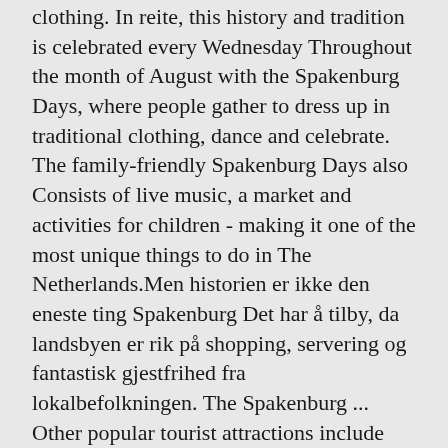clothing. In reite, this history and tradition is celebrated every Wednesday Throughout the month of August with the Spakenburg Days, where people gather to dress up in traditional clothing, dance and celebrate. The family-friendly Spakenburg Days also Consists of live music, a market and activities for children - making it one of the most unique things to do in The Netherlands.Men historien er ikke den eneste ting Spakenburg Det har å tilby, da landsbyen er rik på shopping, servering og fantastisk gjestfrihed fra lokalbefolkningen. The Spakenburg ... Other popular tourist attractions include the Spakenburg windmill, the Spakenburg Museum and paying a visit to the Spakenburg Saturday Market, an authentic Dutch marketplace offering a variety of shopping, dining and sight-seeing opportunities for visitors. Spakenburg is also host to more special events throughout the year.
These include the Fishery Days in September, Zuidwal Competition or traditional wooden combat ships, Eel Smoking Contests and a day in May where the village's farming tradition is celebrated. Spakenburg is a great place to visit...